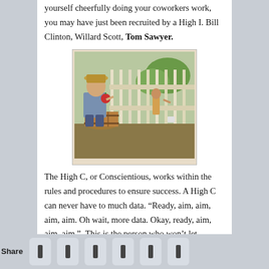yourself cheerfully doing your coworkers work, you may have just been recruited by a High I. Bill Clinton, Willard Scott, Tom Sawyer.
[Figure (illustration): Illustration of Tom Sawyer sitting on a barrel leaning against a fence, eating an apple, while another boy paints the fence in the background. Outdoors scene with trees.]
The High C, or Conscientious, works within the rules and procedures to ensure success. A High C can never have to much data. “Ready, aim, aim, aim, aim. Oh wait, more data. Okay, ready, aim, aim, aim.”  This is the person who won’t let emotion get in the way, that would be illogical. Joe Friday, Bill Gates, Mr. Spock.
[Figure (photo): Photo of Mr. Spock from Star Trek, a character with pointed ears and dark hair, shown from shoulders up with a serious expression.]